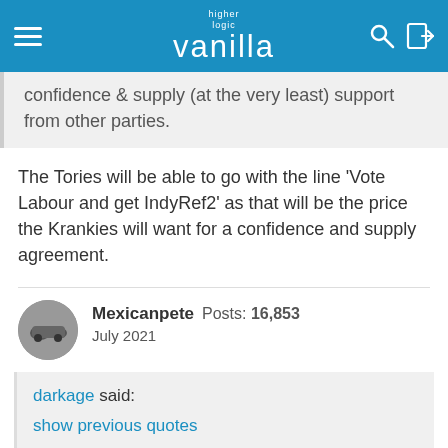higher logic vanilla
confidence & supply (at the very least) support from other parties.
The Tories will be able to go with the line 'Vote Labour and get IndyRef2' as that will be the price the Krankies will want for a confidence and supply agreement.
Mexicanpete Posts: 16,853 July 2021
darkage said:
show previous quotes
I wouldn't say this is a socialist government. They are more like a regular government in the 1945-1970's model; but one with little ideology bar some reasonable sound principles (not